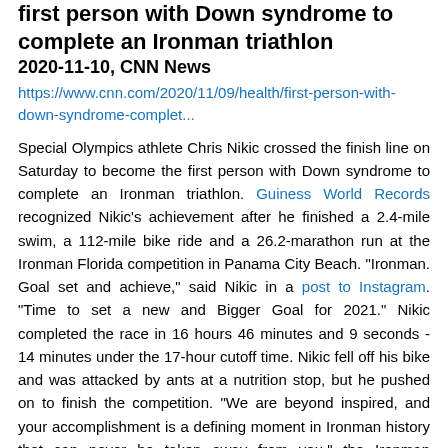first person with Down syndrome to complete an Ironman triathlon
2020-11-10, CNN News
https://www.cnn.com/2020/11/09/health/first-person-with-down-syndrome-complet...
Special Olympics athlete Chris Nikic crossed the finish line on Saturday to become the first person with Down syndrome to complete an Ironman triathlon. Guiness World Records recognized Nikic's achievement after he finished a 2.4-mile swim, a 112-mile bike ride and a 26.2-marathon run at the Ironman Florida competition in Panama City Beach. "Ironman. Goal set and achieve," said Nikic in a post to Instagram. "Time to set a new and Bigger Goal for 2021." Nikic completed the race in 16 hours 46 minutes and 9 seconds - 14 minutes under the 17-hour cutoff time. Nikic fell off his bike and was attacked by ants at a nutrition stop, but he pushed on to finish the competition. "We are beyond inspired, and your accomplishment is a defining moment in Ironman history that can never be taken away from you," the Ironman Triathlon organization said. Nikic and his father Nik developed the "1 percent better challenge" to stay motivated during training. The idea is to